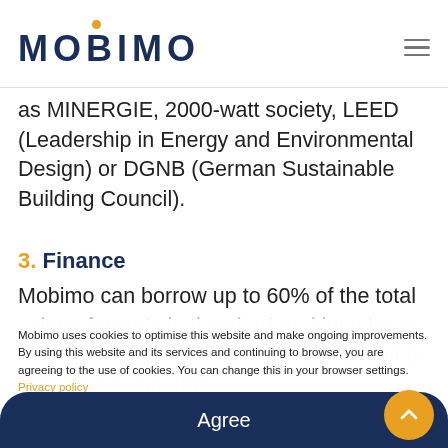MOBIMO
as MINERGIE, 2000-watt society, LEED (Leadership in Energy and Environmental Design) or DGNB (German Sustainable Building Council).
3. Finance
Mobimo can borrow up to 60% of the total value of assets in the short and long term. The following principles must be observed on a consolidated basis:
Mobimo uses cookies to optimise this website and make ongoing improvements. By using this website and its services and continuing to browse, you are agreeing to the use of cookies. You can change this in your browser settings. Privacy policy
Agree